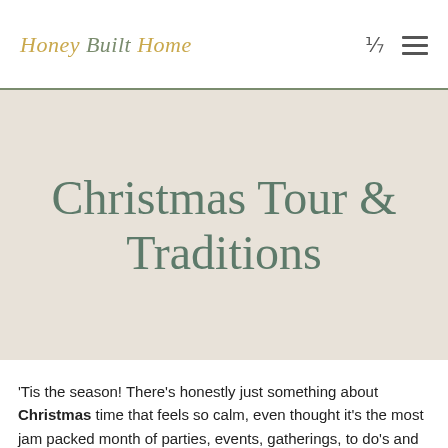Honey Built Home
Christmas Tour & Traditions
'Tis the season! There's honestly just something about Christmas time that feels so calm, even thought it's the most jam packed month of parties, events, gatherings, to do's and more. But there's those moments like decorating the tree while listening to